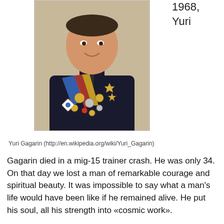[Figure (photo): Portrait photograph of Yuri Gagarin in military uniform decorated with numerous medals, ribbons, and insignia, smiling against a neutral background.]
1968,
Yuri
Yuri Gagarin (http://en.wikipedia.org/wiki/Yuri_Gagarin)
Gagarin died in a mig-15 trainer crash. He was only 34. On that day we lost a man of remarkable courage and spiritual beauty. It was impossible to say what a man's life would have been like if he remained alive. He put his soul, all his strength into «cosmic work».